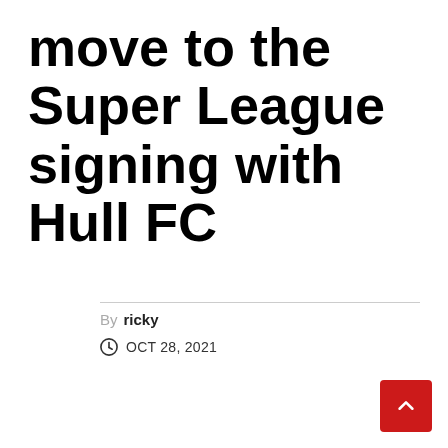move to the Super League signing with Hull FC
By ricky
OCT 28, 2021